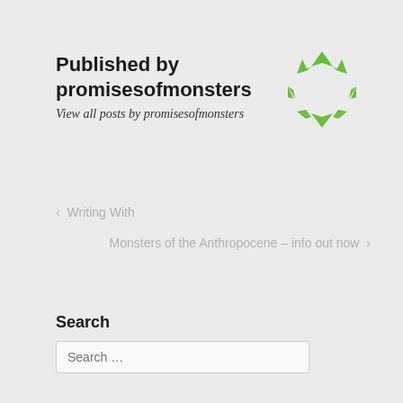Published by promisesofmonsters
View all posts by promisesofmonsters
[Figure (logo): Green geometric star/snowflake logo made of triangular arrow shapes arranged in a circular pattern]
< Writing With
Monsters of the Anthropocene – info out now >
Search
Search …